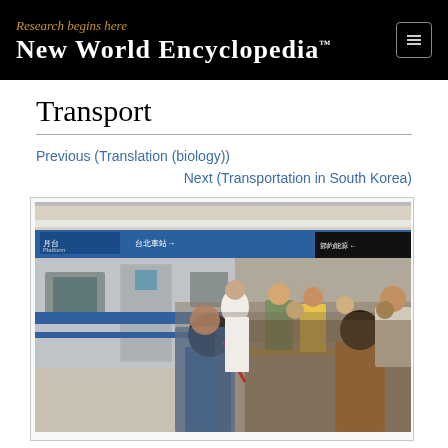Research begins here — New World Encyclopedia™
Transport
Previous (Translation (biology))
Next (Transportation in South Korea)
[Figure (photo): Crowded subway/metro station platform with a train, passengers boarding and waiting, blue directional signs visible overhead (Taipei MRT or similar Asian metro system).]